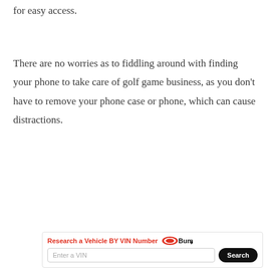for easy access.
There are no worries as to fiddling around with finding your phone to take care of golf game business, as you don't have to remove your phone case or phone, which can cause distractions.
[Figure (other): Advertisement banner: 'Research a Vehicle BY VIN Number' with Bump logo, VIN input field, and Search button]